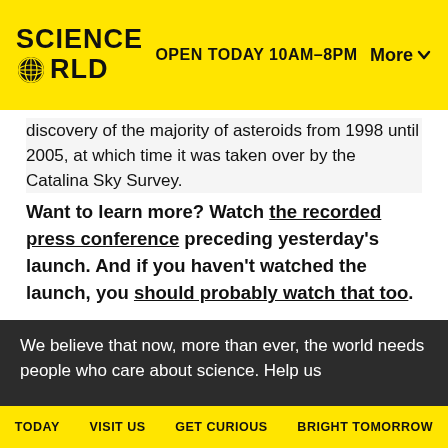SCIENCE WORLD | OPEN TODAY 10AM–8PM | More
discovery of the majority of asteroids from 1998 until 2005, at which time it was taken over by the Catalina Sky Survey.
Want to learn more? Watch the recorded press conference preceding yesterday's launch. And if you haven't watched the launch, you should probably watch that too.
We believe that now, more than ever, the world needs people who care about science. Help us
TODAY   VISIT US   GET CURIOUS   BRIGHT TOMORROW